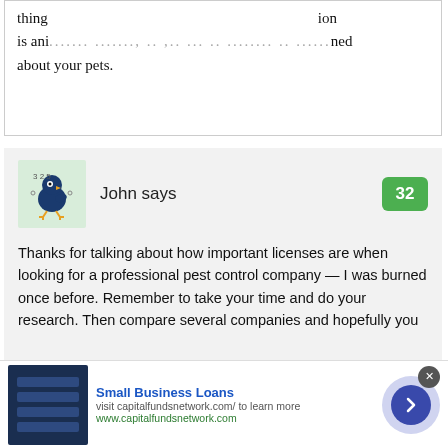thing...ion is ani...ned about your pets.
John says
[Figure (illustration): Cartoon blue bird avatar with decorative elements on green background]
32
Thanks for talking about how important licenses are when looking for a professional pest control company — I was burned once before. Remember to take your time and do your research. Then compare several companies and hopefully you
[Figure (infographic): Advertisement banner for Small Business Loans from capitalfundsnetwork.com with navigation arrow button]